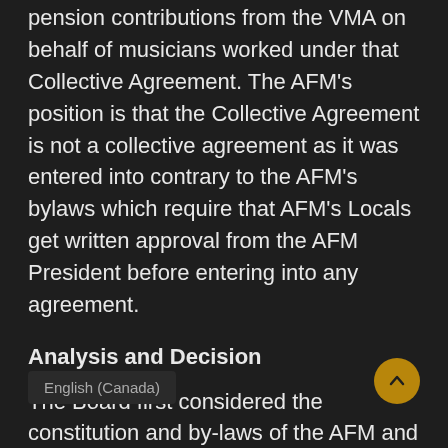pension contributions from the VMA on behalf of musicians worked under that Collective Agreement. The AFM's position is that the Collective Agreement is not a collective agreement as it was entered into contrary to the AFM's bylaws which require that AFM's Locals get written approval from the AFM President before entering into any agreement.
Analysis and Decision
The Board first considered the constitution and by-laws of the AFM and concluded that the VMA did not have actual authority to bind t[he AFM to the] tive Agreement.